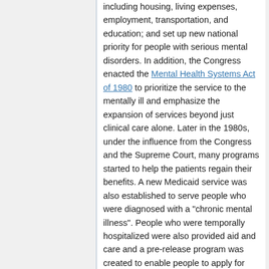including housing, living expenses, employment, transportation, and education; and set up new national priority for people with serious mental disorders. In addition, the Congress enacted the Mental Health Systems Act of 1980 to prioritize the service to the mentally ill and emphasize the expansion of services beyond just clinical care alone. Later in the 1980s, under the influence from the Congress and the Supreme Court, many programs started to help the patients regain their benefits. A new Medicaid service was also established to serve people who were diagnosed with a "chronic mental illness". People who were temporally hospitalized were also provided aid and care and a pre-release program was created to enable people to apply for reinstatement prior to discharge. Not